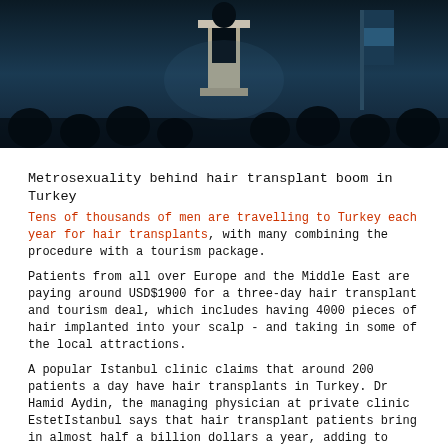[Figure (photo): Dark conference room photo showing silhouettes of audience members and a speaker at a podium with blue lighting and a flag in the background]
Metrosexuality behind hair transplant boom in Turkey
Tens of thousands of men are travelling to Turkey each year for hair transplants, with many combining the procedure with a tourism package.
Patients from all over Europe and the Middle East are paying around USD$1900 for a three-day hair transplant and tourism deal, which includes having 4000 pieces of hair implanted into your scalp - and taking in some of the local attractions.
A popular Istanbul clinic claims that around 200 patients a day have hair transplants in Turkey. Dr Hamid Aydin, the managing physician at private clinic EstetIstanbul says that hair transplant patients bring in almost half a billion dollars a year, adding to Turkey’s annual $7 billion medical tourism industry.
Aydin says 80 percent of his business comes from hair transplants, and that the majority of his clients are Arabs, followed by Dutch, Russians and Brits.
Metrosexuality is bucking the trend, according to the physician, who following numerous studies that he should be conducting